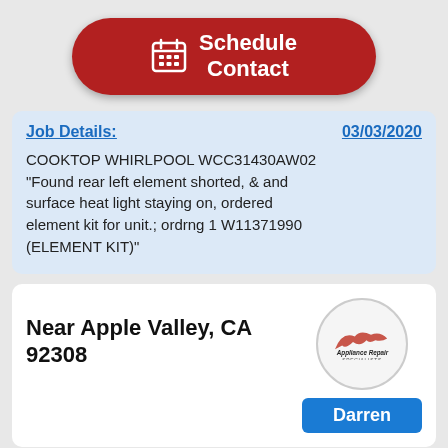[Figure (screenshot): Red rounded button with calendar icon and text 'Schedule Contact']
Job Details: 03/03/2020
COOKTOP WHIRLPOOL WCC31430AW02 "Found rear left element shorted, & and surface heat light staying on, ordered element kit for unit.; ordrng 1 W11371990 (ELEMENT KIT)"
Near Apple Valley, CA 92308
[Figure (logo): Appliance Repair Specialists circular logo with hawk graphic]
Darren